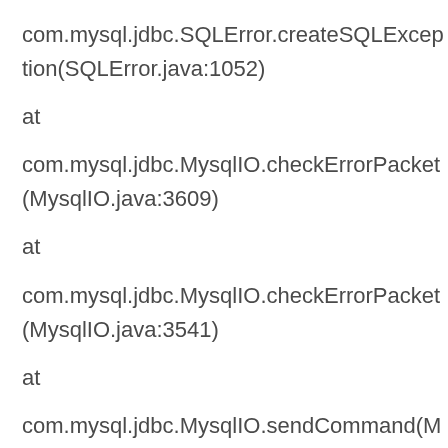com.mysql.jdbc.SQLError.createSQLException(SQLError.java:1052)
at
com.mysql.jdbc.MysqlIO.checkErrorPacket(MysqlIO.java:3609)
at
com.mysql.jdbc.MysqlIO.checkErrorPacket(MysqlIO.java:3541)
at
com.mysql.jdbc.MysqlIO.sendCommand(MysqlIO.java:2002)
at
com.mysql.jdbc.MysqlIO.sqlQueryDirect(M